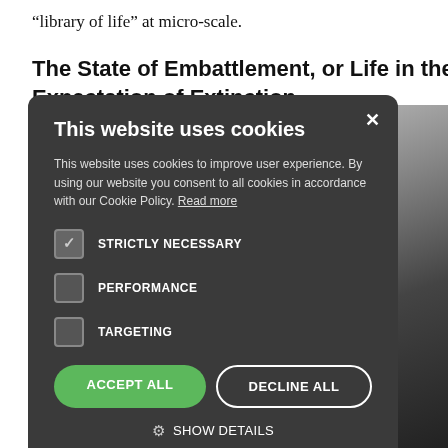“library of life” at micro-scale.
The State of Embattlement, or Life in the Expectation of Extinction
[Figure (photo): Partially visible photograph of a person in dark clothing against a light background, positioned on the right side of the page behind the cookie consent modal.]
This website uses cookies

This website uses cookies to improve user experience. By using our website you consent to all cookies in accordance with our Cookie Policy. Read more

STRICTLY NECESSARY
PERFORMANCE
TARGETING

ACCEPT ALL   DECLINE ALL

⚙ SHOW DETAILS